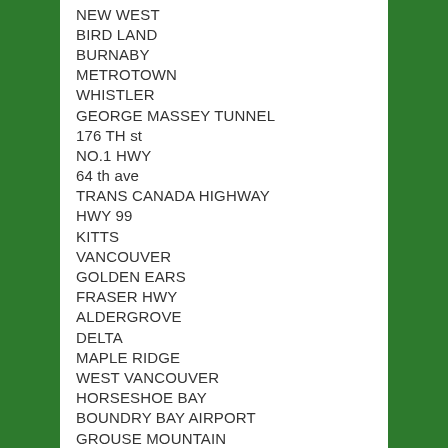NEW WEST
BIRD LAND
BURNABY
METROTOWN
WHISTLER
GEORGE MASSEY TUNNEL
176 TH st
NO.1 HWY
64 th ave
TRANS CANADA HIGHWAY
HWY 99
KITTS
VANCOUVER
GOLDEN EARS
FRASER HWY
ALDERGROVE
DELTA
MAPLE RIDGE
WEST VANCOUVER
HORSESHOE BAY
BOUNDRY BAY AIRPORT
GROUSE MOUNTAIN